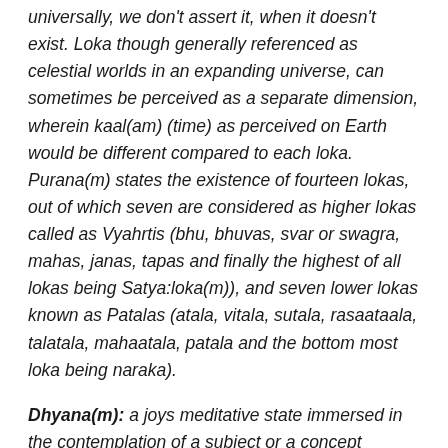universally, we don't assert it, when it doesn't exist. Loka though generally referenced as celestial worlds in an expanding universe, can sometimes be perceived as a separate dimension, wherein kaal(am) (time) as perceived on Earth would be different compared to each loka. Purana(m) states the existence of fourteen lokas, out of which seven are considered as higher lokas called as Vyahrtis (bhu, bhuvas, svar or swagra, mahas, janas, tapas and finally the highest of all lokas being Satya:loka(m)), and seven lower lokas known as Patalas (atala, vitala, sutala, rasaataala, talatala, mahaatala, patala and the bottom most loka being naraka).
Dhyana(m): a joys meditative state immersed in the contemplation of a subject or a concept towards